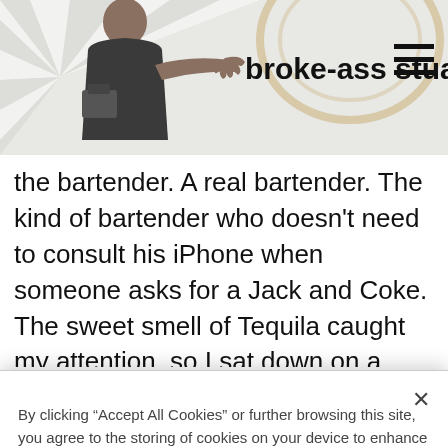[Figure (screenshot): Broke-ass Stuart website header with a man making a hand gesture on the left, the site logo text 'broke-ass stuart' in the center, and a hamburger menu icon on the right]
the bartender. A real bartender. The kind of bartender who doesn't need to consult his iPhone when someone asks for a Jack and Coke. The sweet smell of Tequila caught my attention, so I sat down on a barstool in the
By clicking “Accept All Cookies” or further browsing this site, you agree to the storing of cookies on your device to enhance site navigation, analyze site usage, and assist in our marketing efforts.  Cookie Policy
Cookies Settings
Reject All
Accept All Cookies